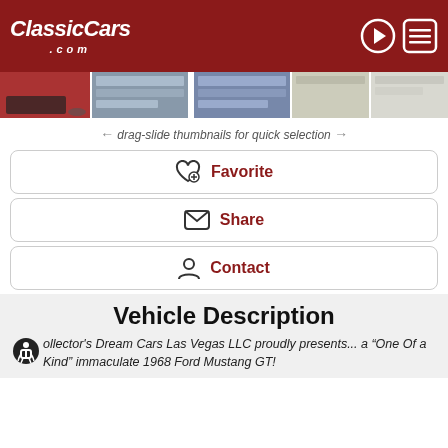ClassicCars.com
[Figure (screenshot): Thumbnail strip of classic car images]
← drag-slide thumbnails for quick selection →
Favorite
Share
Contact
Vehicle Description
Collector's Dream Cars Las Vegas LLC proudly presents... a "One Of a Kind" immaculate 1968 Ford Mustang GT!